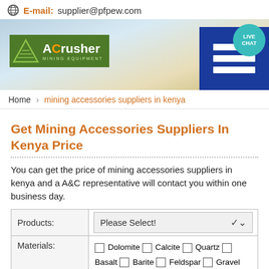E-mail:supplier@pfpew.com
[Figure (logo): ACrusher Mining Equipment logo with banner background and Live Chat button]
Home > mining accessories suppliers in kenya
Get Mining Accessories Suppliers In Kenya Price
You can get the price of mining accessories suppliers in kenya and a A&C representative will contact you within one business day.
| Products: | Please Select! |
| --- | --- |
| Materials: | Dolomite  Calcite  Quartz  Basalt  Barite  Feldspar  Gravel |